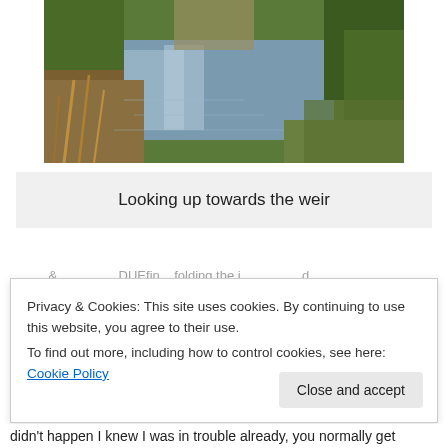[Figure (photo): Photograph of a river looking upstream towards a weir, with reeds and grasses in the foreground and trees lining both banks. Water reflects light.]
Looking up towards the weir
Privacy & Cookies: This site uses cookies. By continuing to use this website, you agree to their use.
To find out more, including how to control cookies, see here: Cookie Policy
didn't happen I knew I was in trouble already, you normally get